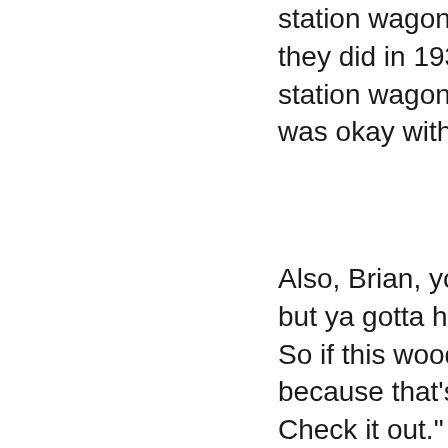station wagons in 1933. 'Brian, I don't think they did in 1932. That's what we now call station wagon, although I have seen a '3 was okay with him.
Also, Brian, you wrote it ain't got a heater but ya gotta have a radio. You've got to b So if this woody is missing anything, it sh because that's where the surfboards go. Check it out."
It ain't got a back seat, or a rear window,
but it still gets me where I wanna go.
Next, I noticed the line, There's two swin just wink your eye. 'Brian, surfers call the